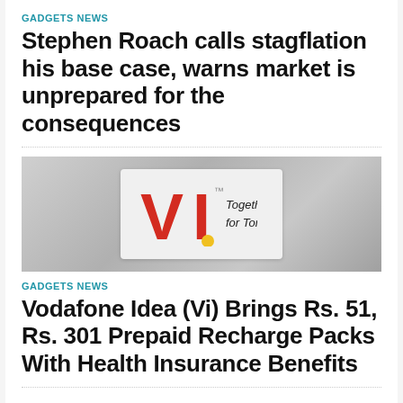GADGETS NEWS
Stephen Roach calls stagflation his base case, warns market is unprepared for the consequences
[Figure (logo): Vi (Vodafone Idea) logo with tagline 'Together for Tomorrow' on a grey background]
GADGETS NEWS
Vodafone Idea (Vi) Brings Rs. 51, Rs. 301 Prepaid Recharge Packs With Health Insurance Benefits